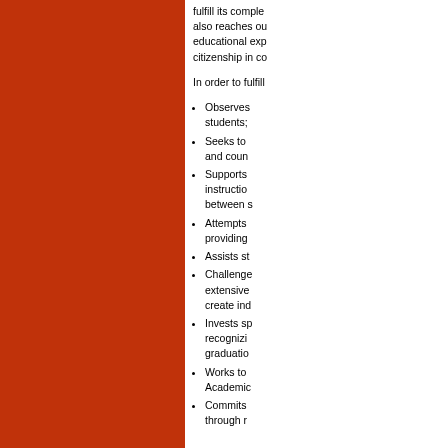fulfill its complete... also reaches ou... educational exp... citizenship in co...
In order to fulfill
Observes... students;
Seeks to... and coun...
Supports... instruction... between s...
Attempts... providing...
Assists st...
Challenges... extensively... create ind...
Invests sp... recognizi... graduation...
Works to... Academic...
Commits... through r...